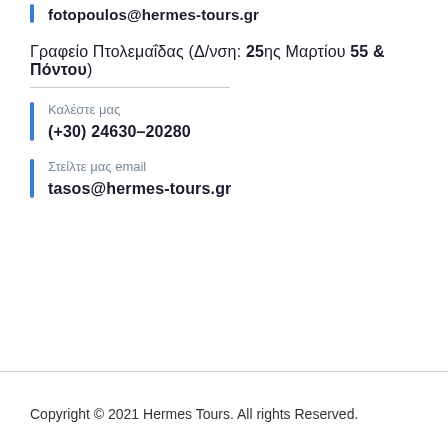fotopoulos@hermes-tours.gr
Γραφείο Πτολεμαΐδας (Δ/νση: 25ης Μαρτίου 55 & Πόντου)
Καλέστε μας
(+30) 24630–20280
Στείλτε μας email
tasos@hermes-tours.gr
Copyright © 2021 Hermes Tours. All rights Reserved.